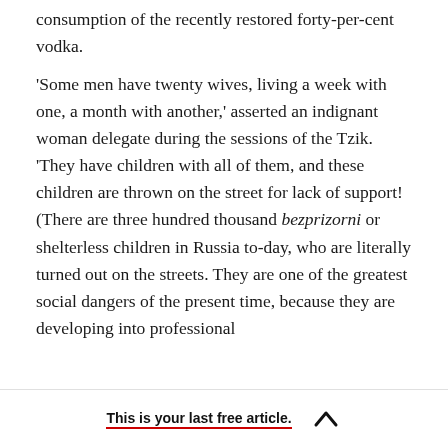consumption of the recently restored forty-per-cent vodka.

'Some men have twenty wives, living a week with one, a month with another,' asserted an indignant woman delegate during the sessions of the Tzik. 'They have children with all of them, and these children are thrown on the street for lack of support! (There are three hundred thousand bezprizorni or shelterless children in Russia to-day, who are literally turned out on the streets. They are one of the greatest social dangers of the present time, because they are developing into professional
This is your last free article.